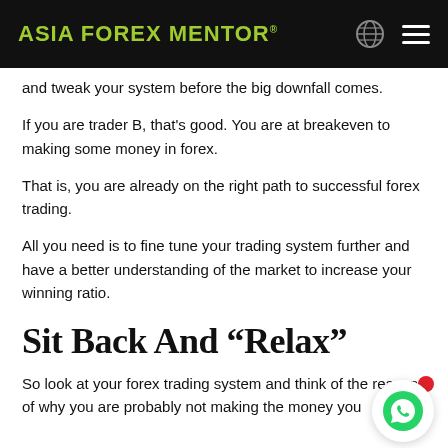ASIA FOREX MENTOR®
and tweak your system before the big downfall comes.
If you are trader B, that's good. You are at breakeven to making some money in forex.
That is, you are already on the right path to successful forex trading.
All you need is to fine tune your trading system further and have a better understanding of the market to increase your winning ratio.
Sit Back And “Relax”
So look at your forex trading system and think of the reasons of why you are probably not making the money you